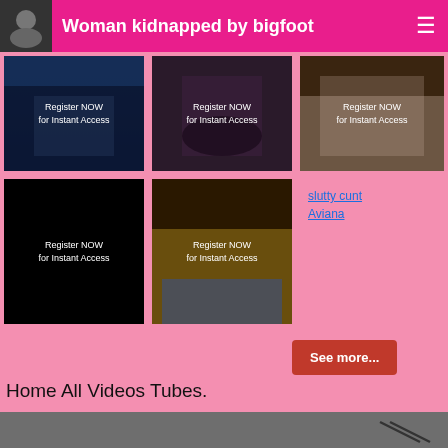Woman kidnapped by bigfoot
[Figure (screenshot): Grid of thumbnail images with 'Register NOW for Instant Access' overlays on dark backgrounds]
slutty cunt Aviana
See more...
Home All Videos Tubes.
[Figure (screenshot): Gray video player area at bottom of page]